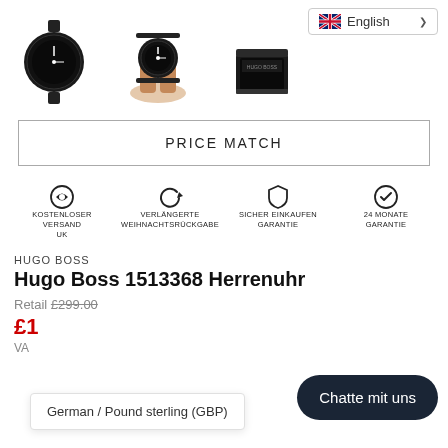[Figure (screenshot): Three product images of Hugo Boss watch: front view, on wrist, and in box]
[Figure (screenshot): Language selector dropdown showing English with UK flag]
PRICE MATCH
[Figure (infographic): Four feature icons: Kostenloser Versand UK, Verlängerte Weihnachtsrückgabe, Sicher Einkaufen Garantie, 24 Monate Garantie]
HUGO BOSS
Hugo Boss 1513368 Herrenuhr
Retail £299.00
£1
VA
Chatte mit uns
German / Pound sterling (GBP)